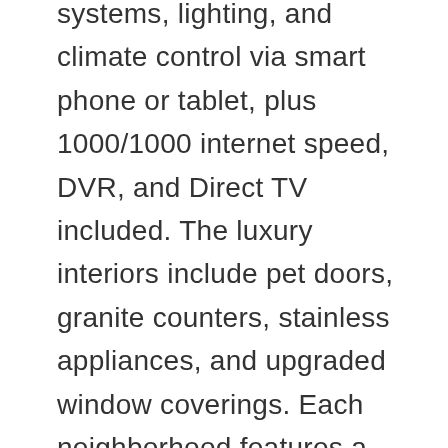systems, lighting, and climate control via smart phone or tablet, plus 1000/1000 internet speed, DVR, and Direct TV included. The luxury interiors include pet doors, granite counters, stainless appliances, and upgraded window coverings. Each neighborhood features a pool, event lawn, outdoor ramadas, and BBQ's.
Christopher Todd Communities has broken ground on six communities in the greater Phoenix area and has aggressive